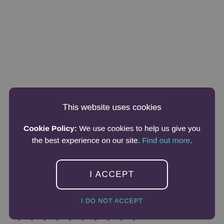available, including the famous Harry Ramsden Fish & Chips and delicious burgers, and for those that are just looking for a destination, the food experience with
[Figure (screenshot): Cookie consent modal dialog with dark purple background. Title: 'This website uses cookies'. Body text: 'Cookie Policy: We use cookies to help us give you the best experience on our site. Find out more.' Button: 'I ACCEPT'. Link: 'I DO NOT ACCEPT'.]
Give it a rating:
[Figure (other): Five purple outline star icons for rating]